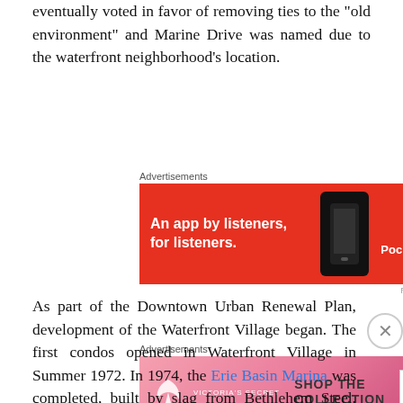eventually voted in favor of removing ties to the "old environment" and Marine Drive was named due to the waterfront neighborhood’s location.
[Figure (other): Pocket Casts advertisement: red background with text 'An app by listeners, for listeners.' and Pocket Casts logo with phone image]
As part of the Downtown Urban Renewal Plan, development of the Waterfront Village began. The first condos opened in Waterfront Village in Summer 1972. In 1974, the Erie Basin Marina was completed, built by slag from Bethlehem Steel. The gardens at the Marina were developed by Stanley Swisher, supervisor of the grounds for the City’s Engineering Department. Stanley Swisher
[Figure (other): Victoria's Secret advertisement: pink gradient background with model, Victoria's Secret logo, and 'SHOP THE COLLECTION' text with 'SHOP NOW' button]